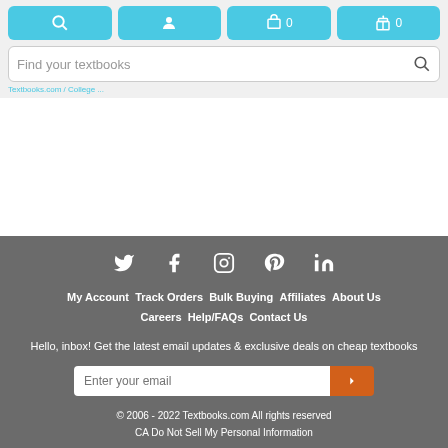Textbooks.com navigation header with search bar and nav buttons
[Figure (screenshot): Navigation buttons: search, account, cart (0), gift (0) in blue]
Find your textbooks
breadcrumb navigation links
[Figure (infographic): Social media icons: Twitter, Facebook, Instagram, Pinterest, LinkedIn]
My Account  Track Orders  Bulk Buying  Affiliates  About Us  Careers  Help/FAQs  Contact Us
Hello, inbox! Get the latest email updates & exclusive deals on cheap textbooks
Enter your email
© 2006 - 2022 Textbooks.com All rights reserved
CA Do Not Sell My Personal Information